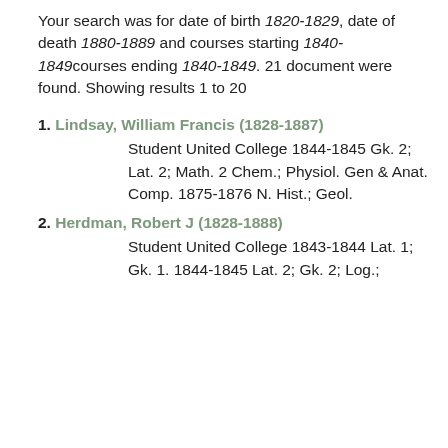Your search was for date of birth 1820-1829, date of death 1880-1889 and courses starting 1840-1849courses ending 1840-1849. 21 document were found. Showing results 1 to 20
1. Lindsay, William Francis (1828-1887)
Student United College 1844-1845 Gk. 2; Lat. 2; Math. 2 Chem.; Physiol. Gen & Anat. Comp. 1875-1876 N. Hist.; Geol.
2. Herdman, Robert J (1828-1888)
Student United College 1843-1844 Lat. 1; Gk. 1. 1844-1845 Lat. 2; Gk. 2; Log.;